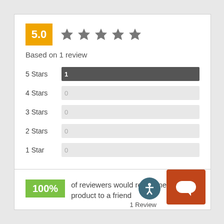[Figure (other): Rating score box showing 5.0 in orange with 5 grey stars]
Based on 1 review
[Figure (bar-chart): Star rating distribution]
100% of reviewers would recommend this product to a friend